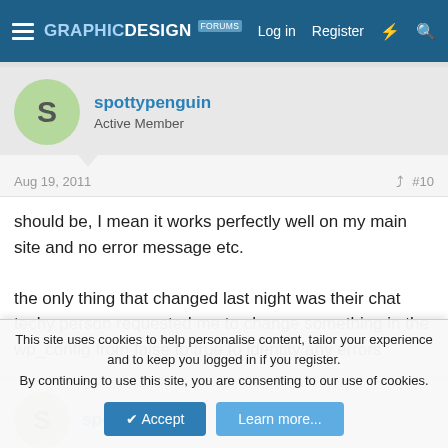Graphic Design Forums — Log in | Register
spottypenguin
Active Member
Aug 19, 2011   #10
should be, I mean it works perfectly well on my main site and no error message etc.

the only thing that changed last night was their chat techy person requested me to change something in the wp_config from false to true to identity any errors
spottypenguin
This site uses cookies to help personalise content, tailor your experience and to keep you logged in if you register.
By continuing to use this site, you are consenting to our use of cookies.